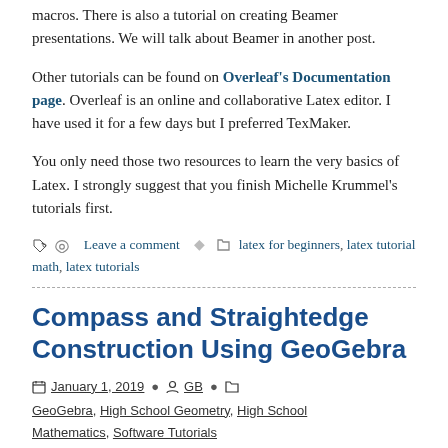macros. There is also a tutorial on creating Beamer presentations. We will talk about Beamer in another post.
Other tutorials can be found on Overleaf's Documentation page. Overleaf is an online and collaborative Latex editor. I have used it for a few days but I preferred TexMaker.
You only need those two resources to learn the very basics of Latex. I strongly suggest that you finish Michelle Krummel's tutorials first.
Leave a comment   latex for beginners, latex tutorial math, latex tutorials
Compass and Straightedge Construction Using GeoGebra
January 1, 2019  GB  GeoGebra, High School Geometry, High School Mathematics, Software Tutorials
In Geometry, the term construction refers to the 'drawing' of